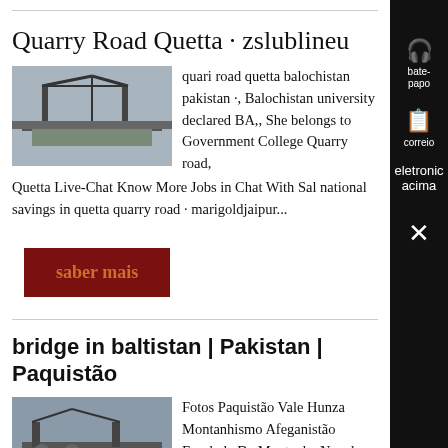Quarry Road Quetta · zslublineu
[Figure (photo): Photo of a bridge or crane structure in Quetta, Pakistan]
quari road quetta balochistan pakistan ·, Balochistan university declared BA,, She belongs to Government College Quarry road, Quetta Live-Chat Know More Jobs in Chat With Sal national savings in quetta quarry road · marigoldjaipur...
saber mais
bridge in baltistan | Pakistan | Paquistão
[Figure (photo): Photo of a bridge in Baltistan, Pakistan]
Fotos Paquistão Vale Hunza Montanhismo Afeganistão Escalada De Montanha Nepal Rota, Quetta, Balochistan, Pakistan Montain...